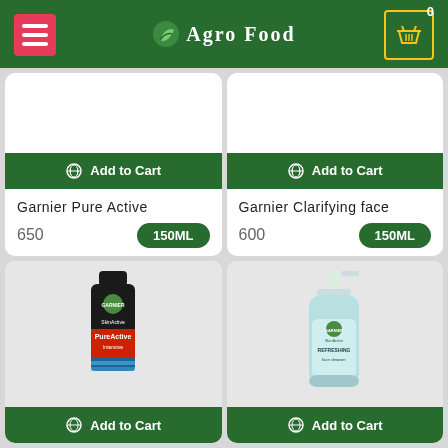Agro Food
[Figure (screenshot): Garnier Pure Active product tube - SkinActive PureActive Intensive scrub]
Garnier Pure Active
650  150ML
[Figure (screenshot): Garnier Clarifying face pump bottle - SkinActive Refreshing face cleanser]
Garnier Clarifying face
600  150ML